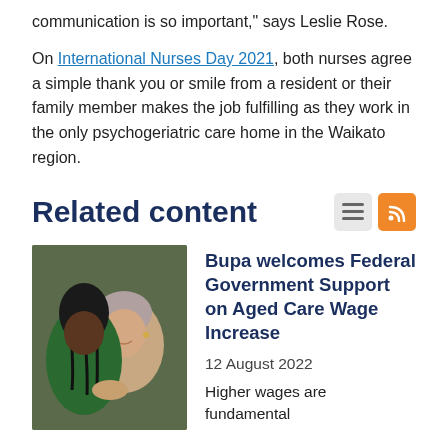communication is so important," says Leslie Rose.
On International Nurses Day 2021, both nurses agree a simple thank you or smile from a resident or their family member makes the job fulfilling as they work in the only psychogeriatric care home in the Waikato region.
Related content
[Figure (photo): A younger woman with braided hair embracing an older woman, both looking warmly at each other.]
Bupa welcomes Federal Government Support on Aged Care Wage Increase
12 August 2022
Higher wages are fundamental